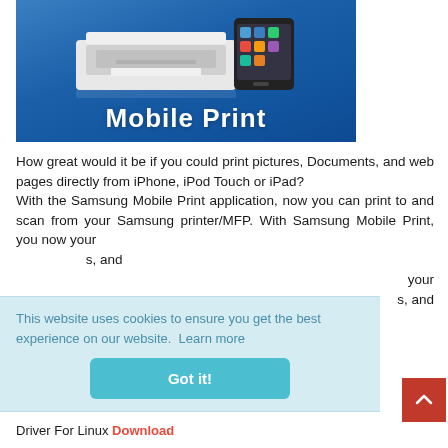[Figure (illustration): Samsung Mobile Print promotional banner showing a printer and smartphone on a blue gradient background with 'Mobile Print' text]
How great would it be if you could print pictures, Documents, and web pages directly from iPhone, iPod Touch or iPad? With the Samsung Mobile Print application, now you can print to and scan from your Samsung printer/MFP. With Samsung Mobile Print, you now ... your ... s, and
This website uses cookies to ensure you get the best experience on our website. Learn more
Got it!
Driver For Linux Download